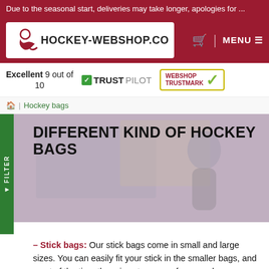Due to the seasonal start, deliveries may take longer, apologies for ...
[Figure (logo): Hockey-Webshop.com logo with hockey player icon and cart icon, plus MENU button on dark red background]
Excellent 9 out of 10
[Figure (logo): TrustPilot logo with green checkmark]
[Figure (logo): Webshop Trustmark badge with green checkmark]
Hockey bags
DIFFERENT KIND OF HOCKEY BAGS
Stick bags: Our stick bags come in small and large sizes. You can easily fit your stick in the smaller bags, and most of the time there is extra space for some keys, or a mouthguard. There is more room in the larger stick bags, they contain multiple compartments where you can also fit shoes, clothes, and more accessoires.
Shoulder bags, backpacks and bowling bags: There is plenty